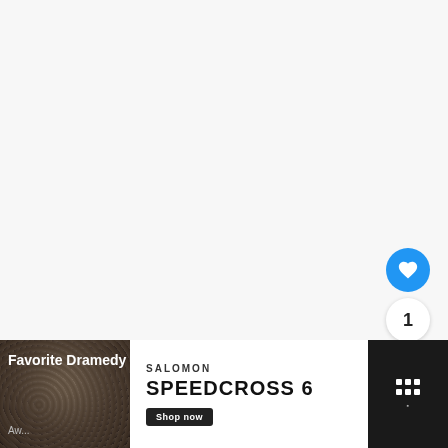[Figure (screenshot): White/light gray empty content area taking up most of the page]
[Figure (infographic): Blue circular like/favorite button with heart icon, count of 1, and share button below]
[Figure (screenshot): What's Next panel with thumbnail avatar labeled 'buddy it', text: WHAT'S NEXT → / 2014 People's Choice...]
Favorite Dramedy
Aw...
[Figure (photo): Dark gravel/dirt photo on bottom left]
[Figure (screenshot): Salomon advertisement: SPEEDCROSS 6 with Shop now button]
[Figure (screenshot): Dark panel on bottom right with menu icon (grid of white squares) and small text]